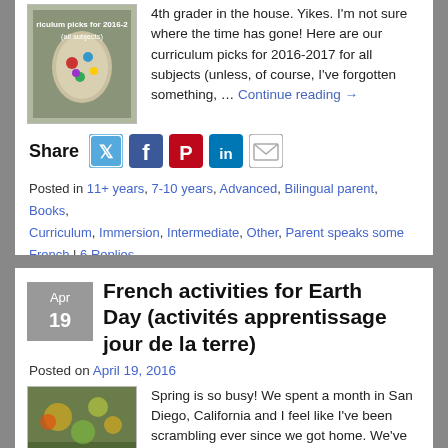[Figure (photo): Thumbnail image showing curriculum picks for 2016-2017 (all subjects), jar with colored items]
4th grader in the house. Yikes. I'm not sure where the time has gone! Here are our curriculum picks for 2016-2017 for all subjects (unless, of course, I've forgotten something, … Continue reading →
[Figure (infographic): Share bar with Twitter, Facebook, Pinterest, LinkedIn, and email icons]
Posted in 11+ years, 7-10 years, Advanced, Bilingual parent, Books, Curriculum, Immersion, Intermediate, Other, Parent speaks some French | 6 Replies
French activities for Earth Day (activités apprentissage jour de la terre)
Posted on April 19, 2016
[Figure (photo): French activities thumbnail image with colorful art/nature scene]
Spring is so busy! We spent a month in San Diego, California and I feel like I've been scrambling ever since we got home. We've